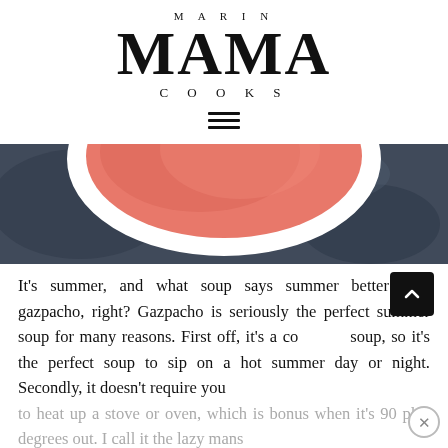MARIN MAMA COOKS
[Figure (photo): Top-down view of a white bowl containing gazpacho (pinkish-red soup) on a dark slate/stone surface]
It’s summer, and what soup says summer better than gazpacho, right? Gazpacho is seriously the perfect summer soup for many reasons. First off, it’s a cold soup, so it’s the perfect soup to sip on a hot summer day or night. Secondly, it doesn’t require you to heat up a stove or oven, which is bonus when it’s 90 plus degrees out. I call it the lazy mans